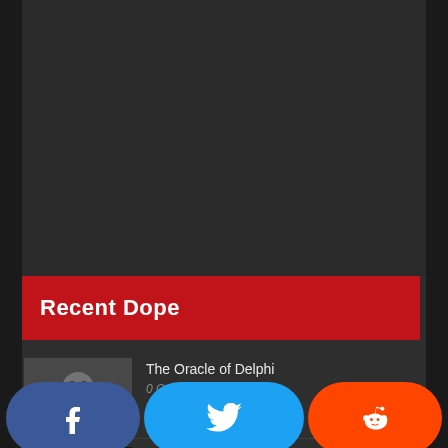[Figure (other): Dark gray top area, likely an advertisement or video placeholder]
Recent Dope
[Figure (photo): Small thumbnail image showing a face-like gray/white photo for 'The Oracle of Delphi']
The Oracle of Delphi
0 Comments
[Figure (photo): Small thumbnail image showing dark background with yellow/orange element for 'Spin Ice Defies Third Law Of Thermodynamics']
Spin Ice Defies Third Law Of Thermodynamics; Finding Could Lead To Devices That Use...
Facebook share | Twitter share | Reddit share